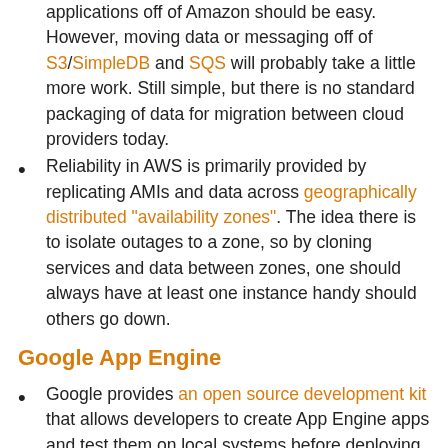applications off of Amazon should be easy. However, moving data or messaging off of S3/SimpleDB and SQS will probably take a little more work. Still simple, but there is no standard packaging of data for migration between cloud providers today.
Reliability in AWS is primarily provided by replicating AMIs and data across geographically distributed "availability zones". The idea there is to isolate outages to a zone, so by cloning services and data between zones, one should always have at least one instance handy should others go down.
Google App Engine
Google provides an open source development kit that allows developers to create App Engine apps and test them on local systems before deploying them into Google's cloud. There is no true replicate of App Engine itself that can be used in a private cloud, not are their plans for one that I